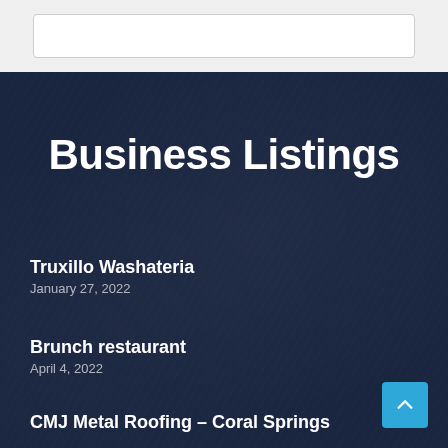[Figure (other): Search box input field with white background and light border on a light gray background section]
Business Listings
Truxillo Washateria
January 27, 2022
Brunch restaurant
April 4, 2022
CMJ Metal Roofing – Coral Springs